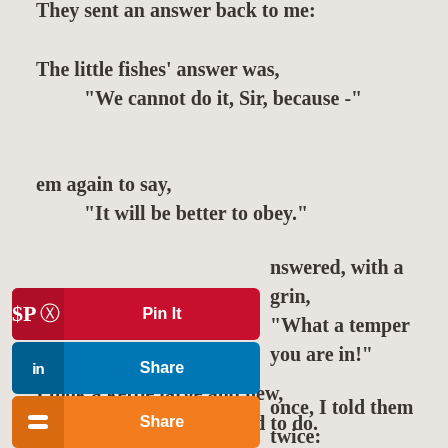They sent an answer back to me:
The little fishes' answer was,
    “We cannot do it, Sir, because -”
em again to say,
    “It will be better to obey.”
nswered, with a grin,
    “Wh at a temper you are in!”
once, I told them twice:
    ld not listen to advice.
I took a kettle large and new,
    Fit for the deed I had to do.